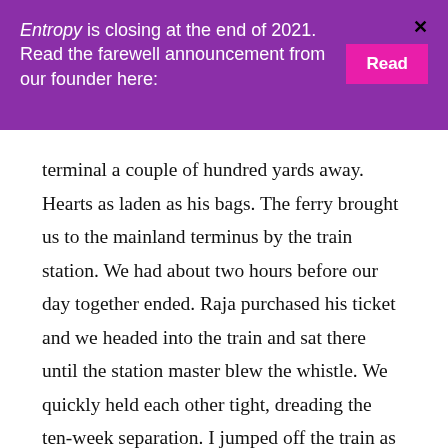Entropy is closing at the end of 2021. Read the farewell announcement from our founder here: [Read]
terminal a couple of hundred yards away. Hearts as laden as his bags. The ferry brought us to the mainland terminus by the train station. We had about two hours before our day together ended. Raja purchased his ticket and we headed into the train and sat there until the station master blew the whistle. We quickly held each other tight, dreading the ten-week separation. I jumped off the train as the second whistle sounded and the train was set in motion, and caught the last sight of